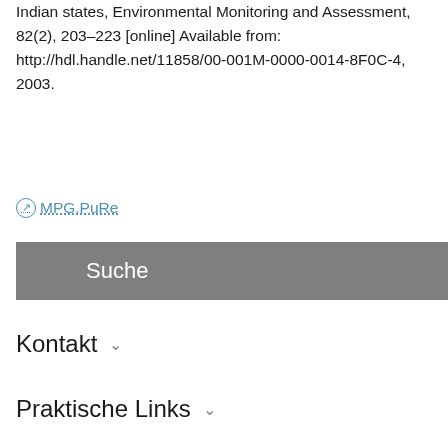Indian states, Environmental Monitoring and Assessment, 82(2), 203–223 [online] Available from: http://hdl.handle.net/11858/00-001M-0000-0014-8F0C-4, 2003.
MPG.PuRe
Suche
Kontakt
Praktische Links